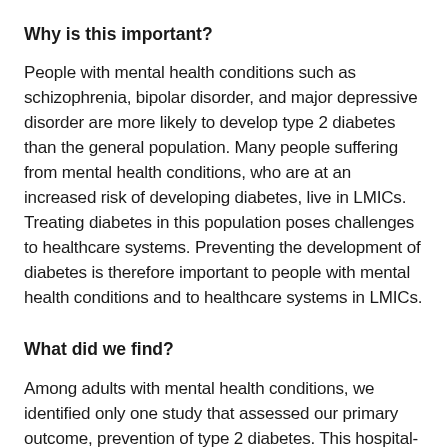Why is this important?
People with mental health conditions such as schizophrenia, bipolar disorder, and major depressive disorder are more likely to develop type 2 diabetes than the general population. Many people suffering from mental health conditions, who are at an increased risk of developing diabetes, live in LMICs. Treating diabetes in this population poses challenges to healthcare systems. Preventing the development of diabetes is therefore important to people with mental health conditions and to healthcare systems in LMICs.
What did we find?
Among adults with mental health conditions, we identified only one study that assessed our primary outcome, prevention of type 2 diabetes. This hospital-based study with 150 participants (99 participants with schizophrenia) found low-certainty evidence of no difference in risk between the use of older antipsychotic medications (typical antipsychotics) and